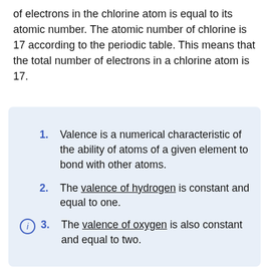of electrons in the chlorine atom is equal to its atomic number. The atomic number of chlorine is 17 according to the periodic table. This means that the total number of electrons in a chlorine atom is 17.
1. Valence is a numerical characteristic of the ability of atoms of a given element to bond with other atoms.
2. The valence of hydrogen is constant and equal to one.
3. The valence of oxygen is also constant and equal to two.